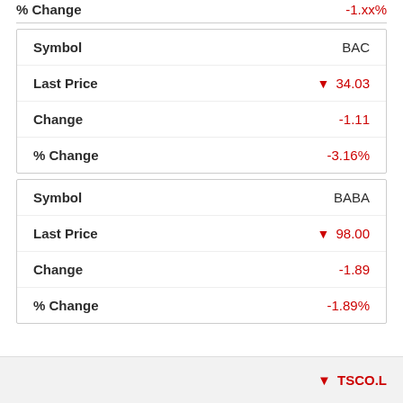| Field | Value |
| --- | --- |
| % Change | -1.xx% |
| Symbol | BAC |
| Last Price | ▼ 34.03 |
| Change | -1.11 |
| % Change | -3.16% |
| Symbol | BABA |
| Last Price | ▼ 98.00 |
| Change | -1.89 |
| % Change | -1.89% |
▼ TSCO.L